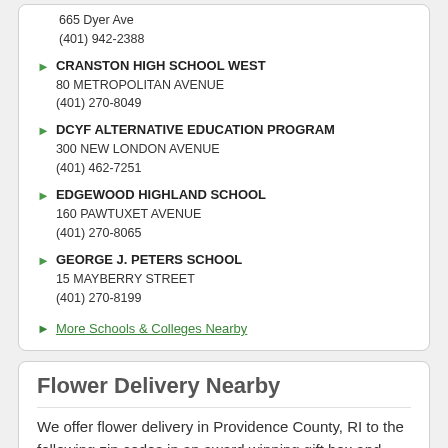665 Dyer Ave
(401) 942-2388
CRANSTON HIGH SCHOOL WEST
80 METROPOLITAN AVENUE
(401) 270-8049
DCYF ALTERNATIVE EDUCATION PROGRAM
300 NEW LONDON AVENUE
(401) 462-7251
EDGEWOOD HIGHLAND SCHOOL
160 PAWTUXET AVENUE
(401) 270-8065
GEORGE J. PETERS SCHOOL
15 MAYBERRY STREET
(401) 270-8199
More Schools & Colleges Nearby
Flower Delivery Nearby
We offer flower delivery in Providence County, RI to the following zip codes in an award winning gift box and